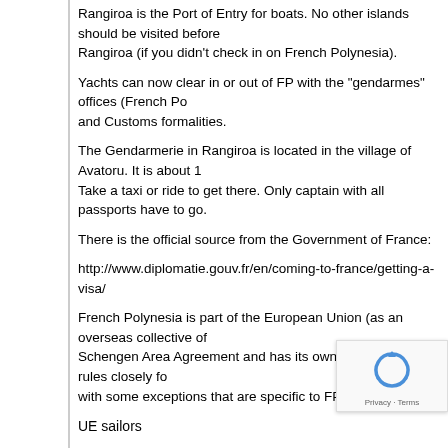Rangiroa is the Port of Entry for boats. No other islands should be visited before Rangiroa (if you didn't check in on French Polynesia).
Yachts can now clear in or out of FP with the "gendarmes" offices (French Po... and Customs formalities.
The Gendarmerie in Rangiroa is located in the village of Avatoru. It is about 1... Take a taxi or ride to get there. Only captain with all passports have to go.
There is the official source from the Government of France:
http://www.diplomatie.gouv.fr/en/coming-to-france/getting-a-visa/
French Polynesia is part of the European Union (as an overseas collective of... Schengen Area Agreement and has its own visa rules. These rules closely fo... with some exceptions that are specific to FP.
UE sailors
All European Union sailors don't' need a visa, and the procedure is easy goin... Gandarmerie with your passport, a captain have to fill up the customs form, a... Papeete (there is a post office, the address is on the form). That's all, you are... for 2 years. Prepare a list with quantity of strong alcohol, wine, beer, cigarette... customs form).
Non EU sailors
You need a “Visa On Arrival” which is good for 90 days. Applying... bond or your check-in process. If you wish to stay longer than 9... for a “Long Stay Visa”. Anyway all the crew has to visit Gandarm...
The French Polynesia Bond.